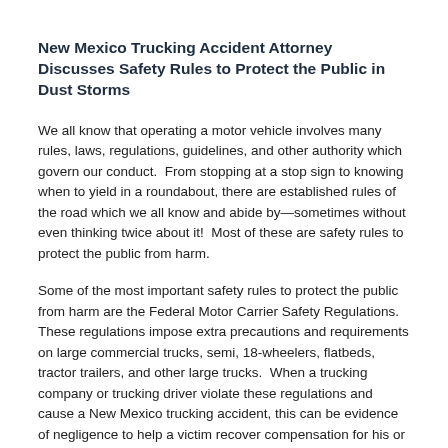New Mexico Trucking Accident Attorney Discusses Safety Rules to Protect the Public in Dust Storms
We all know that operating a motor vehicle involves many rules, laws, regulations, guidelines, and other authority which govern our conduct.  From stopping at a stop sign to knowing when to yield in a roundabout, there are established rules of the road which we all know and abide by—sometimes without even thinking twice about it!  Most of these are safety rules to protect the public from harm.
Some of the most important safety rules to protect the public from harm are the Federal Motor Carrier Safety Regulations.  These regulations impose extra precautions and requirements on large commercial trucks, semi, 18-wheelers, flatbeds, tractor trailers, and other large trucks.  When a trucking company or trucking driver violate these regulations and cause a New Mexico trucking accident, this can be evidence of negligence to help a victim recover compensation for his or